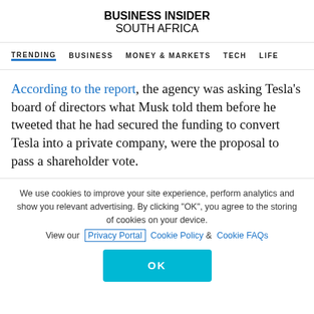BUSINESS INSIDER
SOUTH AFRICA
TRENDING  BUSINESS  MONEY & MARKETS  TECH  LIFE
According to the report, the agency was asking Tesla's board of directors what Musk told them before he tweeted that he had secured the funding to convert Tesla into a private company, were the proposal to pass a shareholder vote.
We use cookies to improve your site experience, perform analytics and show you relevant advertising. By clicking "OK", you agree to the storing of cookies on your device. View our Privacy Portal  Cookie Policy &  Cookie FAQs